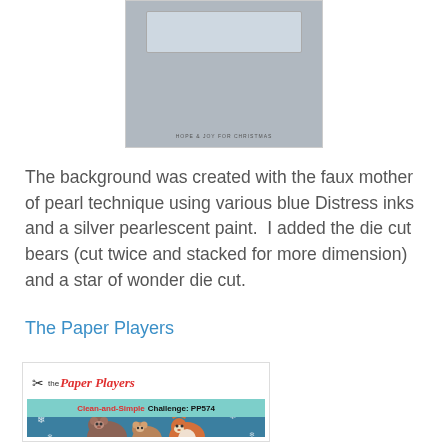[Figure (photo): Partial photo of a Christmas card with blurred text reading HOPE & JOY FOR CHRISTMAS, showing a light blue/grey background]
The background was created with the faux mother of pearl technique using various blue Distress inks and a silver pearlescent paint.  I added the die cut bears (cut twice and stacked for more dimension) and a star of wonder die cut.
The Paper Players
[Figure (logo): The Paper Players logo showing scissors, cursive red Paper Players text, teal banner with Clean-and-Simple Challenge: PP574 text, and woodland animals (bear, cub, fox) on a teal winter background with snowflakes]